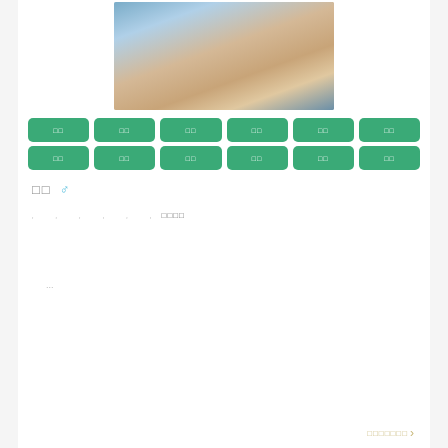[Figure (photo): Portrait photo of a person wearing a beige/cream top, sitting with hands clasped, blue window frame visible in background]
□□  □□  □□  □□  □□  □□
□□  □□  □□  □□  □□  □□
□□  ♂
, , , , , , □□□□
...
□□□□□□□ >